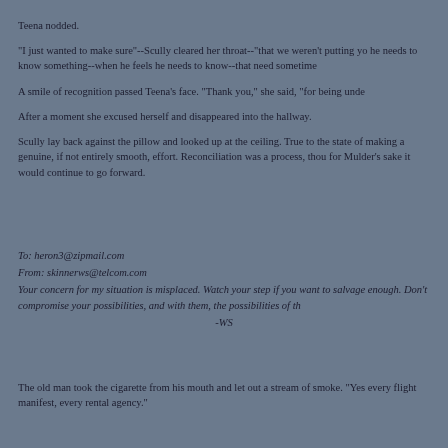Teena nodded.
"I just wanted to make sure"--Scully cleared her throat--"that we weren't putting yo he needs to know something--when he feels he needs to know--that need sometime
A smile of recognition passed Teena's face. "Thank you," she said, "for being unde
After a moment she excused herself and disappeared into the hallway.
Scully lay back against the pillow and looked up at the ceiling. True to the state of making a genuine, if not entirely smooth, effort. Reconciliation was a process, thou for Mulder's sake it would continue to go forward.
To: heron3@zipmail.com
From: skinnerws@telcom.com
Your concern for my situation is misplaced. Watch your step if you want to salvage enough. Don't compromise your possibilities, and with them, the possibilities of th
-WS
The old man took the cigarette from his mouth and let out a stream of smoke. "Yes every flight manifest, every rental agency."